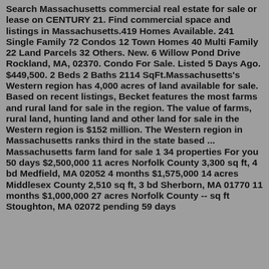Search Massachusetts commercial real estate for sale or lease on CENTURY 21. Find commercial space and listings in Massachusetts.419 Homes Available. 241 Single Family 72 Condos 12 Town Homes 40 Multi Family 22 Land Parcels 32 Others. New. 6 Willow Pond Drive Rockland, MA, 02370. Condo For Sale. Listed 5 Days Ago. $449,500. 2 Beds 2 Baths 2114 SqFt.Massachusetts's Western region has 4,000 acres of land available for sale. Based on recent listings, Becket features the most farms and rural land for sale in the region. The value of farms, rural land, hunting land and other land for sale in the Western region is $152 million. The Western region in Massachusetts ranks third in the state based ... Massachusetts farm land for sale 1 34 properties For you 50 days $2,500,000 11 acres Norfolk County 3,300 sq ft, 4 bd Medfield, MA 02052 4 months $1,575,000 14 acres Middlesex County 2,510 sq ft, 3 bd Sherborn, MA 01770 11 months $1,000,000 27 acres Norfolk County -- sq ft Stoughton, MA 02072 pending 59 days